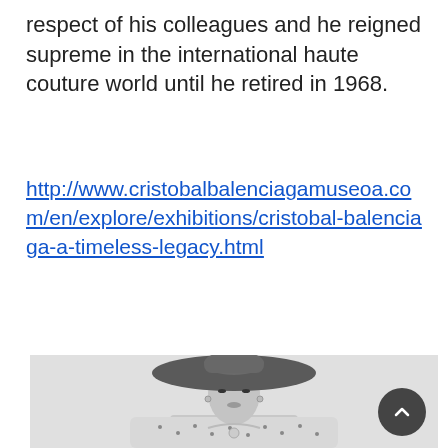respect of his colleagues and he reigned supreme in the international haute couture world until he retired in 1968.
http://www.cristobalbalenciagamuseoa.com/en/explore/exhibitions/cristobal-balenciaga-a-timeless-legacy.html
[Figure (photo): Black and white fashion photograph of a woman wearing a large wide-brimmed hat and a polka dot outfit, in a classic haute couture style.]